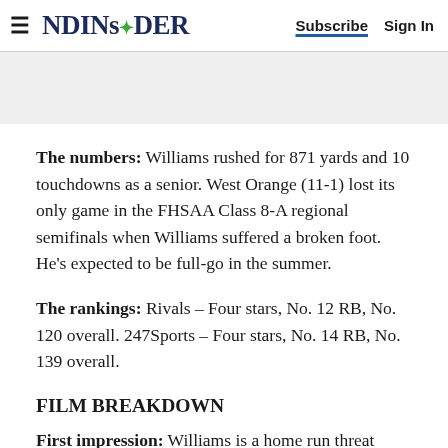≡ NDINSIDER  Subscribe  Sign In
The numbers: Williams rushed for 871 yards and 10 touchdowns as a senior. West Orange (11-1) lost its only game in the FHSAA Class 8-A regional semifinals when Williams suffered a broken foot. He's expected to be full-go in the summer.
The rankings: Rivals – Four stars, No. 12 RB, No. 120 overall. 247Sports – Four stars, No. 14 RB, No. 139 overall.
FILM BREAKDOWN
First impression: Williams is a home run threat